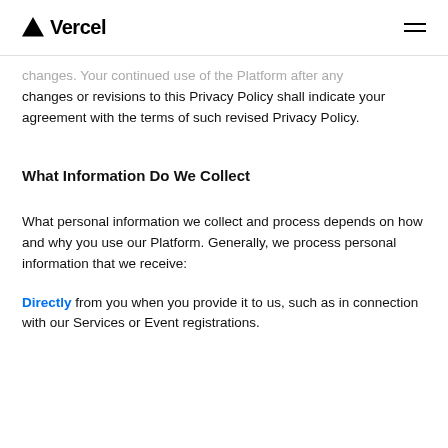Vercel
changes. Your continued use of the Platform after any changes or revisions to this Privacy Policy shall indicate your agreement with the terms of such revised Privacy Policy.
What Information Do We Collect
What personal information we collect and process depends on how and why you use our Platform. Generally, we process personal information that we receive:
Directly from you when you provide it to us, such as in connection with our Services or Event registrations.